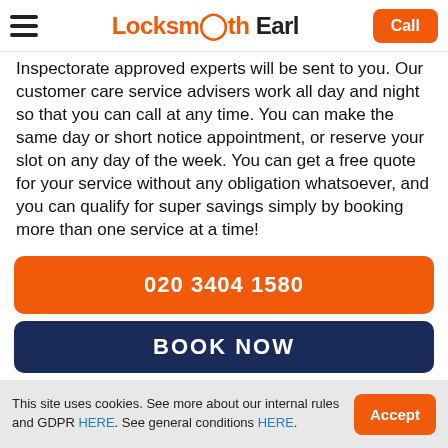Locksmith Earl — Call
Inspectorate approved experts will be sent to you. Our customer care service advisers work all day and night so that you can call at any time. You can make the same day or short notice appointment, or reserve your slot on any day of the week. You can get a free quote for your service without any obligation whatsoever, and you can qualify for super savings simply by booking more than one service at a time!
020 3404 1580
BOOK NOW
This site uses cookies. See more about our internal rules and GDPR HERE. See general conditions HERE.